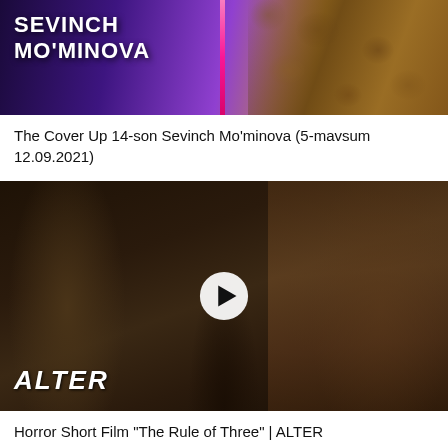[Figure (screenshot): Thumbnail image of Sevinch Mo'minova TV show with colorful background and text overlay]
The Cover Up 14-son Sevinch Mo'minova (5-mavsum 12.09.2021)
[Figure (screenshot): Horror short film thumbnail showing three masked figures in dark setting with ALTER logo and play button overlay]
Horror Short Film "The Rule of Three" | ALTER
[Figure (screenshot): Partial thumbnail with orange background on left and dark green/outdoor scene on right]